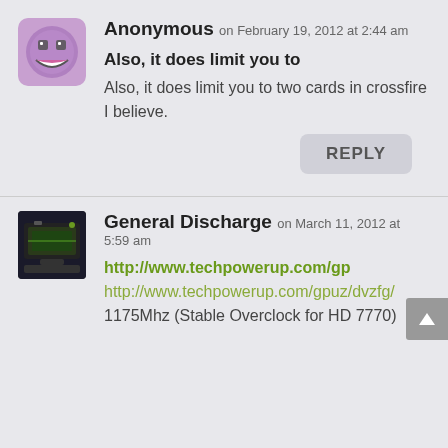[Figure (illustration): Purple smiley face avatar icon with grinning expression in a rounded square]
Anonymous on February 19, 2012 at 2:44 am
Also, it does limit you to
Also, it does limit you to two cards in crossfire I believe.
REPLY
[Figure (photo): Small photo of a green GPU/graphics card on dark background]
General Discharge on March 11, 2012 at 5:59 am
http://www.techpowerup.com/gp http://www.techpowerup.com/gpuz/dvzfg/ 1175Mhz (Stable Overclock for HD 7770)